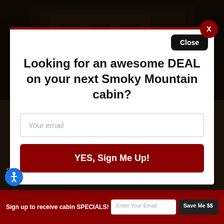[Figure (screenshot): Background photo of a brick building/cabin in a mountain setting, dimly lit with dark overlay]
Looking for an awesome DEAL on your next Smoky Mountain cabin?
Your email
YES, Sign Me Up!
Smoky Mountains, and there is no better place to stay than Lasso Cabin Rentals. We have a fantastic collection
Sign up to receive cabin SPECIALS!
Enter Your Email
Save Me $$